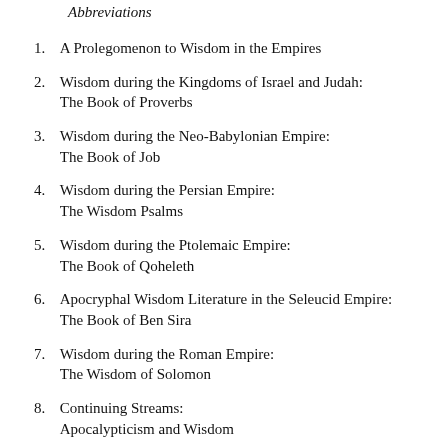Abbreviations
1. A Prolegomenon to Wisdom in the Empires
2. Wisdom during the Kingdoms of Israel and Judah: The Book of Proverbs
3. Wisdom during the Neo-Babylonian Empire: The Book of Job
4. Wisdom during the Persian Empire: The Wisdom Psalms
5. Wisdom during the Ptolemaic Empire: The Book of Qoheleth
6. Apocryphal Wisdom Literature in the Seleucid Empire: The Book of Ben Sira
7. Wisdom during the Roman Empire: The Wisdom of Solomon
8. Continuing Streams: Apocalypticism and Wisdom
9. Continuing Streams: